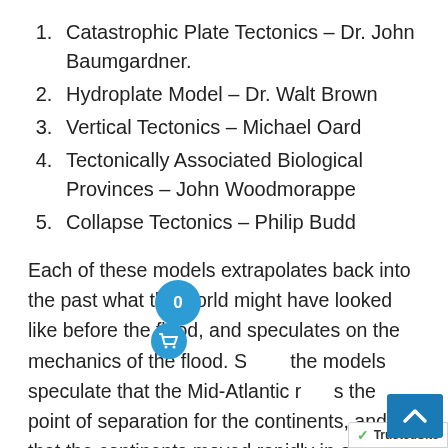Catastrophic Plate Tectonics – Dr. John Baumgardner.
Hydroplate Model – Dr. Walt Brown
Vertical Tectonics – Michael Oard
Tectonically Associated Biological Provinces – John Woodmorappe
Collapse Tectonics – Philip Budd
Each of these models extrapolates back into the past what the world might have looked like before the flood, and speculates on the mechanics of the flood. S[ome of] the models speculate that the Mid-Atlantic r[idge was] the point of separation for the continents, and that the continents moved rapidly in a catastrophic manner to form the oceans today